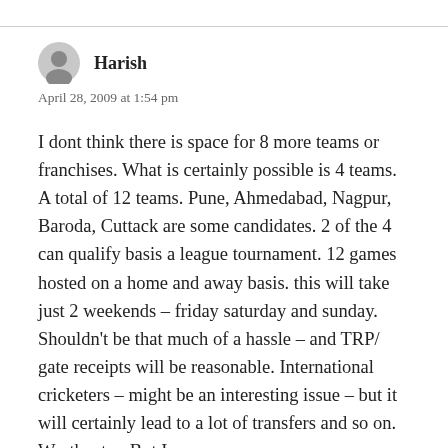Harish
April 28, 2009 at 1:54 pm
I dont think there is space for 8 more teams or franchises. What is certainly possible is 4 teams. A total of 12 teams. Pune, Ahmedabad, Nagpur, Baroda, Cuttack are some candidates. 2 of the 4 can qualify basis a league tournament. 12 games hosted on a home and away basis. this will take just 2 weekends – friday saturday and sunday. Shouldn't be that much of a hassle – and TRP/ gate receipts will be reasonable. International cricketers – might be an interesting issue – but it will certainly lead to a lot of transfers and so on. Worth a try. But I